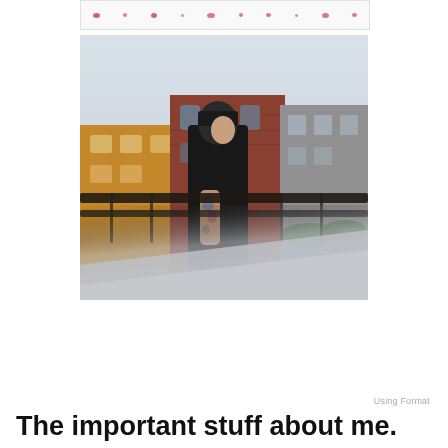[Figure (photo): Decorative strip at top with small colored dots/petals on white background]
[Figure (photo): Outdoor portrait photo of a person wearing a black hoodie and beanie, leaning on a metal railing with tattooed arm visible, urban background with colorful brick and painted buildings, foreground blurred]
Using Format
The important stuff about me.